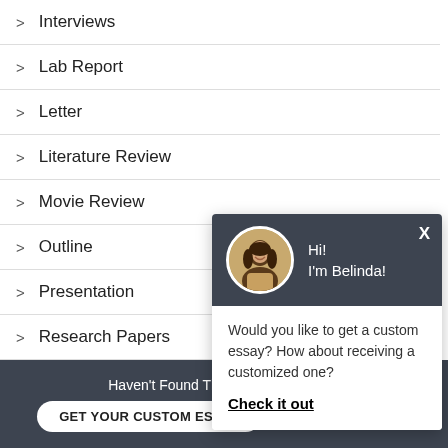> Interviews
> Lab Report
> Letter
> Literature Review
> Movie Review
> Outline
> Presentation
> Research Papers
> Speech
[Figure (screenshot): Chat popup with avatar of Belinda, greeting 'Hi! I'm Belinda!', body text 'Would you like to get a custom essay? How about receiving a customized one?' with 'Check it out' link. Close button X in top right.]
Haven't Found The Essay You Want?
GET YOUR CUSTOM ESSAY
For Only $13.90/page